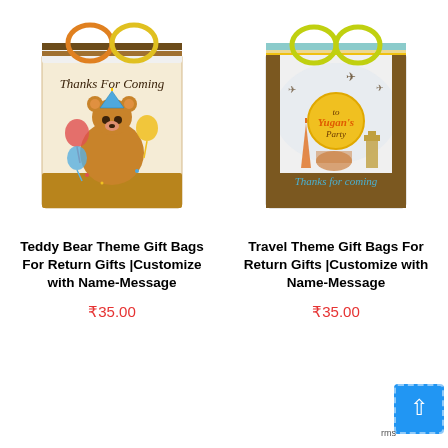[Figure (photo): Teddy Bear Theme Gift Bag with 'Thanks For Coming' text, party bear with balloons, brown and tan colors]
[Figure (photo): Travel Theme Gift Bag with 'Thanks for coming' text, world landmarks, teal/brown/yellow colors, Yugan's Party label]
Teddy Bear Theme Gift Bags For Return Gifts |Customize with Name-Message
Travel Theme Gift Bags For Return Gifts |Customize with Name-Message
₹35.00
₹35.00